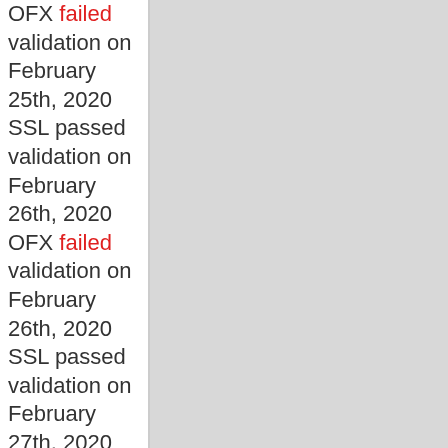OFX failed validation on February 25th, 2020
SSL passed validation on February 26th, 2020
OFX failed validation on February 26th, 2020
SSL passed validation on February 27th, 2020
OFX failed validation on February 27th, 2020